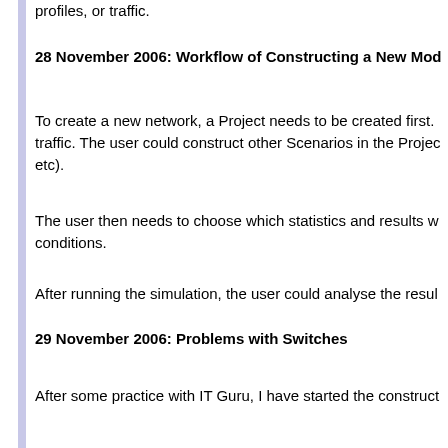profiles, or traffic.
28 November 2006: Workflow of Constructing a New Mo...
To create a new network, a Project needs to be created first. ... traffic. The user could construct other Scenarios in the Projec... etc).
The user then needs to choose which statistics and results w... conditions.
After running the simulation, the user could analyse the resul...
29 November 2006: Problems with Switches
After some practice with IT Guru, I have started the construct... palette of network switches does not include either the Cisco... for Cecil back-end network.
One possible way to overcome this limitation is to derive a ne... Academic Edition palette.
30 November 2006: Device Creator
IT Guru provides users with a powerful tool called Device Cre...